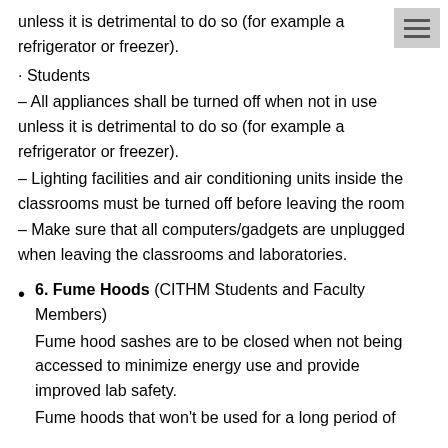unless it is detrimental to do so (for example a refrigerator or freezer).
· Students
– All appliances shall be turned off when not in use unless it is detrimental to do so (for example a refrigerator or freezer).
– Lighting facilities and air conditioning units inside the classrooms must be turned off before leaving the room
– Make sure that all computers/gadgets are unplugged when leaving the classrooms and laboratories.
6. Fume Hoods (CITHM Students and Faculty Members)
Fume hood sashes are to be closed when not being accessed to minimize energy use and provide improved lab safety.
Fume hoods that won't be used for a long period of